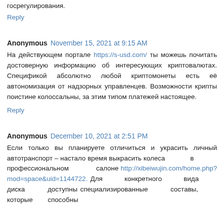госрегулирования.
Reply
Anonymous  November 15, 2021 at 9:15 AM
На действующем портале https://s-usd.com/ ты можешь почитать достоверную информацию об интересующих криптовалютах. Спецификой абсолютно любой криптомонеты есть её автономизация от надзорных управленцев. Возможности крипты поистине колоссальны, за этим типом платежей настоящее.
Reply
Anonymous  December 10, 2021 at 2:51 PM
Если только вы планируете отличиться и украсить личный автотранспорт – настало время выкрасить колеса в профессиональном салоне http://xibeiwujin.com/home.php?mod=space&uid=1144722. Для конкретного вида диска доступны специализированные составы, которые способны